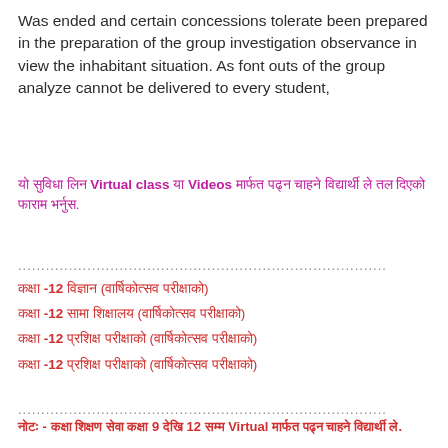Was ended and certain concessions tolerate been prepared in the preparation of the group investigation observance in view the inhabitant situation. As font outs of the group analyze cannot be delivered to every student,
यो सुविधा लिन Virtual class या Videos मार्फत पढ्न चाहने विद्यार्थी ले तल दिएको फाराम भर्नुस.
..................................................................................
कक्षा -12 विज्ञान (वार्षिकोत्सव परीक्षाको)
कक्षा -12 सामा शिक्षालय (वार्षिकोत्सव परीक्षाको)
कक्षा -12 प्रशिक्ष परीक्षाको (वार्षिकोत्सव परीक्षाको)
कक्षा -12 प्रशिक्ष परीक्षाको (वार्षिकोत्सव परीक्षाको)
..................................................................................
नोटः - कक्षा शिक्षण सेवा कक्षा 9 देखि 12 सम्म Virtual मार्फत पढ्न चाहने विद्यार्थी ले.